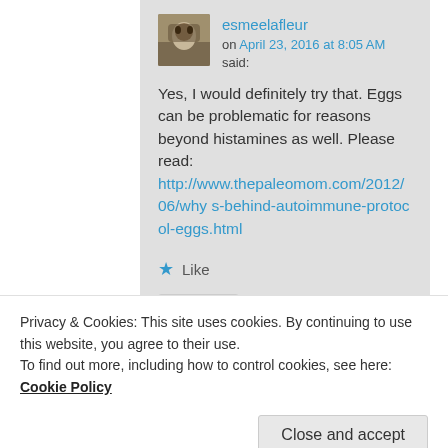esmeelafleur on April 23, 2016 at 8:05 AM said:
Yes, I would definitely try that. Eggs can be problematic for reasons beyond histamines as well. Please read: http://www.thepaleomom.com/2012/06/whys-behind-autoimmune-protocol-eggs.html
★ Like
Reply ↓
Privacy & Cookies: This site uses cookies. By continuing to use this website, you agree to their use.
To find out more, including how to control cookies, see here: Cookie Policy
Close and accept
your blog (which is a treasure) and